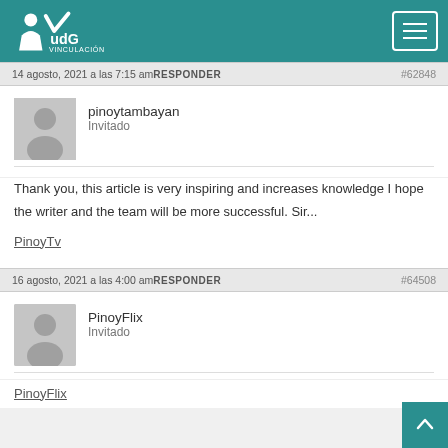UdG Vinculación
14 agosto, 2021 a las 7:15 am RESPONDER #62848
pinoytambayan
Invitado
Thank you, this article is very inspiring and increases knowledge I hope the writer and the team will be more successful. Sir...
PinoyTv
16 agosto, 2021 a las 4:00 am RESPONDER #64508
PinoyFlix
Invitado
PinoyFlix